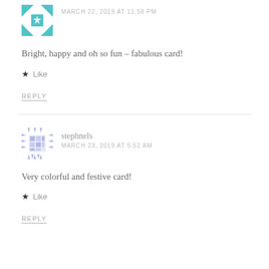[Figure (illustration): Teal/turquoise quilt-pattern avatar icon]
MARCH 22, 2019 AT 11:58 PM
Bright, happy and oh so fun – fabulous card!
★ Like
REPLY
[Figure (illustration): Purple/blue quilt-pattern avatar icon for stephnels]
stephnels
MARCH 23, 2019 AT 5:52 AM
Very colorful and festive card!
★ Like
REPLY